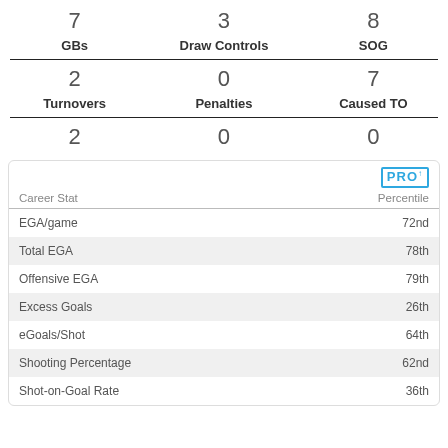7
3
8
GBs
Draw Controls
SOG
2
0
7
Turnovers
Penalties
Caused TO
2
0
0
| Career Stat | Percentile |
| --- | --- |
| EGA/game | 72nd |
| Total EGA | 78th |
| Offensive EGA | 79th |
| Excess Goals | 26th |
| eGoals/Shot | 64th |
| Shooting Percentage | 62nd |
| Shot-on-Goal Rate | 36th |